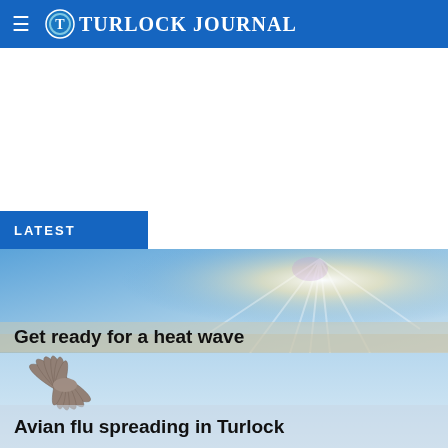Turlock Journal
LATEST
[Figure (photo): Sky background with bright light rays for heat wave article]
Get ready for a heat wave
[Figure (photo): Bird (hummingbird or similar) against light blue sky background for avian flu article]
Avian flu spreading in Turlock